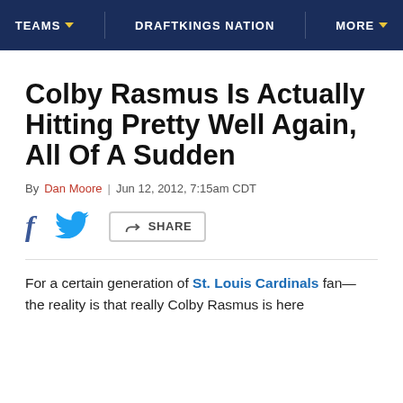TEAMS  |  DRAFTKINGS NATION  |  MORE
Colby Rasmus Is Actually Hitting Pretty Well Again, All Of A Sudden
By Dan Moore | Jun 12, 2012, 7:15am CDT
f [twitter] SHARE
For a certain generation of St. Louis Cardinals fan— the reality is that really Colby Rasmus is here